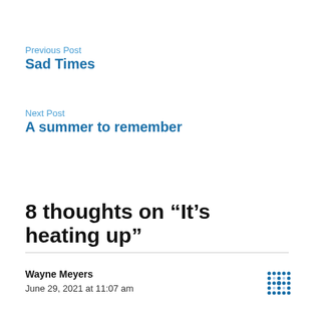Previous Post
Sad Times
Next Post
A summer to remember
8 thoughts on “It’s heating up”
Wayne Meyers
June 29, 2021 at 11:07 am